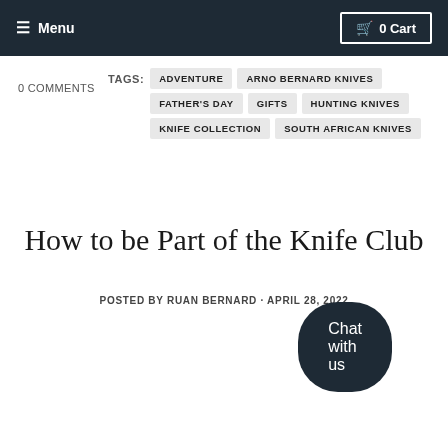Menu | 0 Cart
0 COMMENTS
TAGS: ADVENTURE | ARNO BERNARD KNIVES | FATHER'S DAY | GIFTS | HUNTING KNIVES | KNIFE COLLECTION | SOUTH AFRICAN KNIVES
How to be Part of the Knife Club
POSTED BY RUAN BERNARD · APRIL 28, 2022
Chat with us